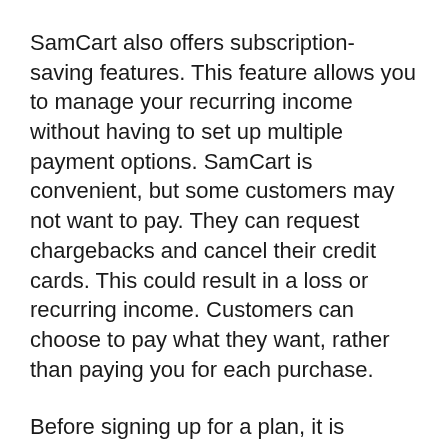SamCart also offers subscription-saving features. This feature allows you to manage your recurring income without having to set up multiple payment options. SamCart is convenient, but some customers may not want to pay. They can request chargebacks and cancel their credit cards. This could result in a loss or recurring income. Customers can choose to pay what they want, rather than paying you for each purchase.
Before signing up for a plan, it is important that you understand the pricing structure for SamCart. SamCart branding is included on the cheapest plan. This does not mean that you should spend too much. SamCart's price